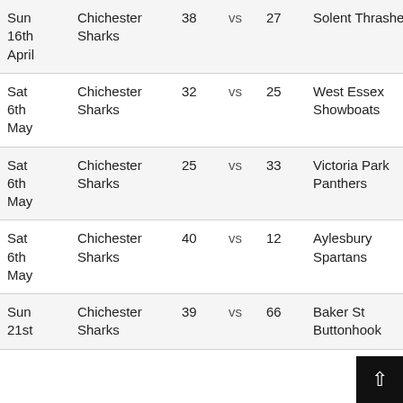| Date | Home Team | Score 1 | vs | Score 2 | Away Team | Result |
| --- | --- | --- | --- | --- | --- | --- |
| Sun 16th April | Chichester Sharks | 38 | vs | 27 | Solent Thrashers | W |
| Sat 6th May | Chichester Sharks | 32 | vs | 25 | West Essex Showboats | W |
| Sat 6th May | Chichester Sharks | 25 | vs | 33 | Victoria Park Panthers | L |
| Sat 6th May | Chichester Sharks | 40 | vs | 12 | Aylesbury Spartans | W |
| Sun 21st | Chichester Sharks | 39 | vs | 66 | Baker St Buttonhook | L |